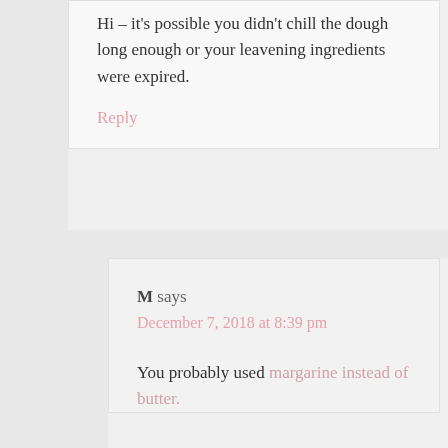Hi – it's possible you didn't chill the dough long enough or your leavening ingredients were expired.
Reply
M says
December 7, 2018 at 8:39 pm
You probably used margarine instead of butter.